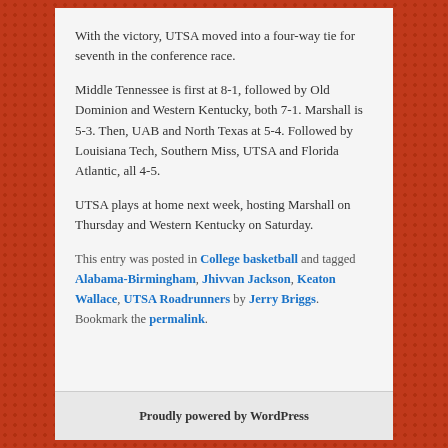With the victory, UTSA moved into a four-way tie for seventh in the conference race.
Middle Tennessee is first at 8-1, followed by Old Dominion and Western Kentucky, both 7-1. Marshall is 5-3. Then, UAB and North Texas at 5-4. Followed by Louisiana Tech, Southern Miss, UTSA and Florida Atlantic, all 4-5.
UTSA plays at home next week, hosting Marshall on Thursday and Western Kentucky on Saturday.
This entry was posted in College basketball and tagged Alabama-Birmingham, Jhivvan Jackson, Keaton Wallace, UTSA Roadrunners by Jerry Briggs. Bookmark the permalink.
Proudly powered by WordPress